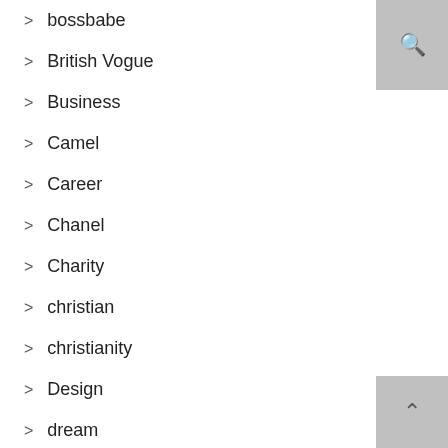bossbabe
British Vogue
Business
Camel
Career
Chanel
Charity
christian
christianity
Design
dream
equality